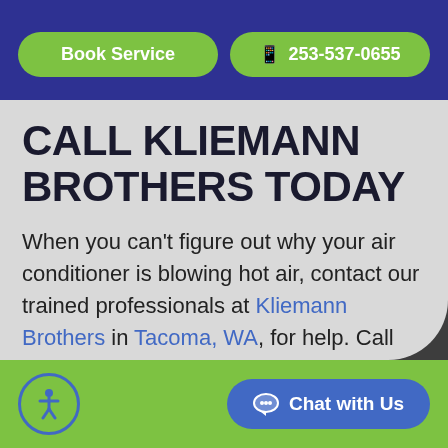Book Service | 253-537-0655
CALL KLIEMANN BROTHERS TODAY
When you can't figure out why your air conditioner is blowing hot air, contact our trained professionals at Kliemann Brothers in Tacoma, WA, for help. Call 253-537-0655 or request service online today.
Chat with Us